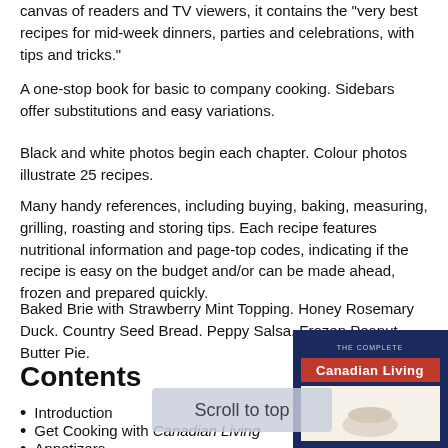canvas of readers and TV viewers, it contains the "very best recipes for mid-week dinners, parties and celebrations, with tips and tricks."
A one-stop book for basic to company cooking. Sidebars offer substitutions and easy variations.
Black and white photos begin each chapter. Colour photos illustrate 25 recipes.
Many handy references, including buying, baking, measuring, grilling, roasting and storing tips. Each recipe features nutritional information and page-top codes, indicating if the recipe is easy on the budget and/or can be made ahead, frozen and prepared quickly.
Baked Brie with Strawberry Mint Topping. Honey Rosemary Duck. Country Seed Bread. Peppy Salsa. Frozen Peanut Butter Pie.
Contents
Introduction
Get Cooking with Canadian Living
Appetizers
Soups
[Figure (photo): Book cover for The Complete Canadian Living Cookbook]